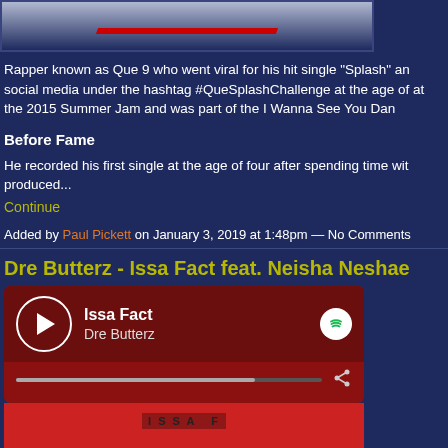[Figure (photo): Top portion of an image partially visible at the top of the page]
Rapper known as Que 9 who went viral for his hit single "Splash" and social media under the hashtag #QueSplashChallenge at the age of at the 2015 Summer Jam and was part of the I Wanna See You Dan
Before Fame
He recorded his first single at the age of four after spending time with produced...
Continue
Added by Paul Pickett on January 3, 2019 at 1:48pm — No Comments
Dre Butterz - Issa Fact feat. Neisha Neshae
[Figure (screenshot): Spotify player widget showing 'Issa Fact' by Dre Butterz with play button, progress bar, and Spotify logo]
[Figure (photo): Red album art for Issa Fact by Dre Butterz with text label at top]